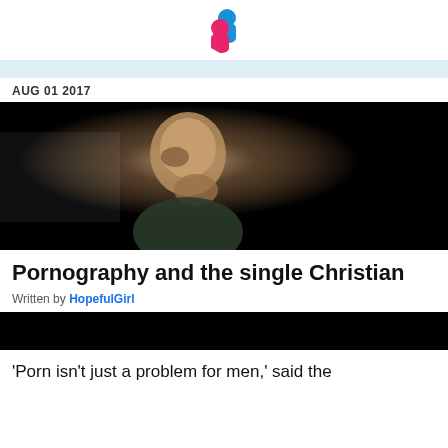[Figure (logo): Website logo with blue and pink heart/person icons overlapping]
AUG 01 2017
[Figure (photo): Dark photo of a middle-aged man resting his chin on his fist, lit from the side, looking pensive against a black background]
Pornography and the single Christian
Written by HopefulGirl
[Figure (photo): Dark/black image, second photo partially visible]
'Porn isn't just a problem for men,' said the